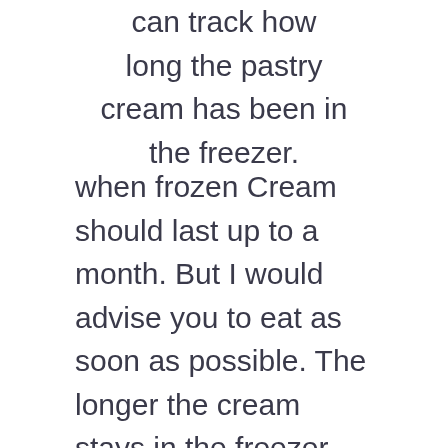can track how long the pastry cream has been in the freezer.
when frozen Cream should last up to a month. But I would advise you to eat as soon as possible. The longer the cream stays in the freezer The more likely it is that the cream will form something unpleasant.